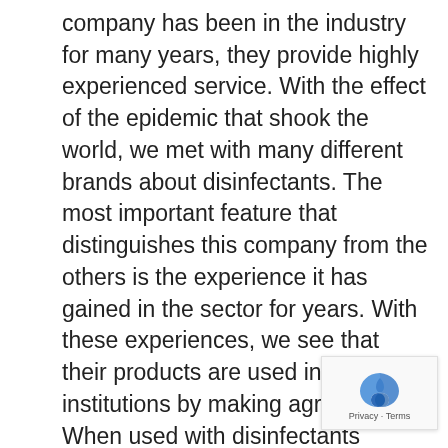company has been in the industry for many years, they provide highly experienced service. With the effect of the epidemic that shook the world, we met with many different brands about disinfectants. The most important feature that distinguishes this company from the others is the experience it has gained in the sector for years. With these experiences, we see that their products are used in many institutions by making agreements. When used with disinfectants dispensers, it provides the necessary hygiene at the maximum level. We come across the products of this brand in institutions that we visit during the day, such as shopping malls, cinemas, workplaces, site entrances, parks, children's playgrounds, schools, hospitals, which have common areas use.